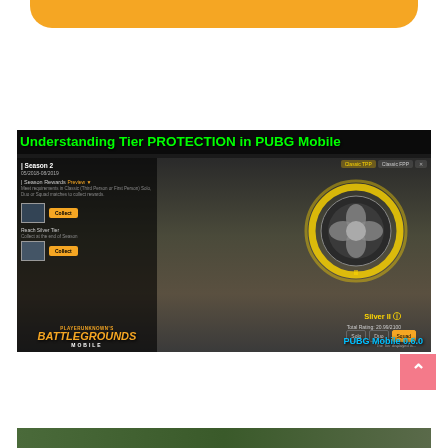[Figure (other): Orange rounded button/banner partially visible at top of page]
[Figure (screenshot): Screenshot of PUBG Mobile game showing 'Understanding Tier PROTECTION in PUBG Mobile' title in green text, Season 2 rewards screen with Silver II rank medal, PLAYERUNKNOWN'S BATTLEGROUNDS MOBILE logo, Solo/Duo/Squad mode buttons, and 'PUBG Mobile 0.6.0' watermark in cyan]
[Figure (other): Pink scroll-to-top button with upward arrow chevron]
[Figure (photo): Bottom partial strip of another image, appears to show outdoor/nature scene]